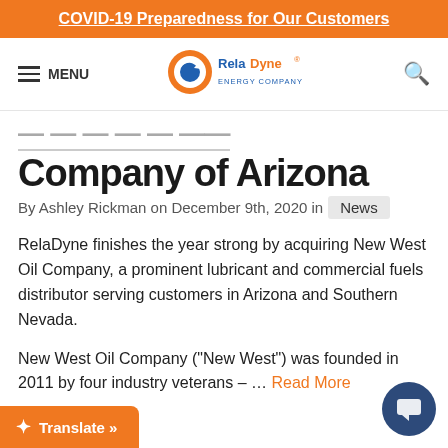COVID-19 Preparedness for Our Customers
[Figure (logo): RelaDyne logo with orange/blue circular icon and RelaDyne wordmark]
Company of Arizona
By Ashley Rickman on December 9th, 2020 in News
RelaDyne finishes the year strong by acquiring New West Oil Company, a prominent lubricant and commercial fuels distributor serving customers in Arizona and Southern Nevada.
New West Oil Company (“New West”) was founded in 2011 by four industry veterans – … Read More